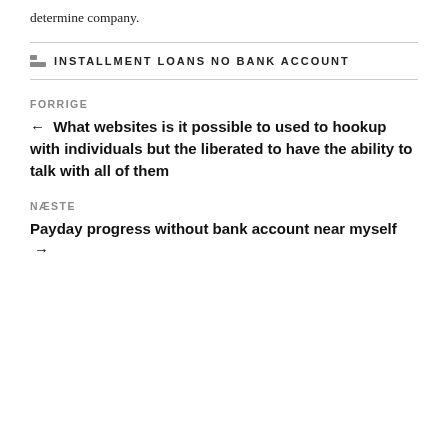determine company.
INSTALLMENT LOANS NO BANK ACCOUNT
FORRIGE
← What websites is it possible to used to hookup with individuals but the liberated to have the ability to talk with all of them
NÆSTE
Payday progress without bank account near myself →